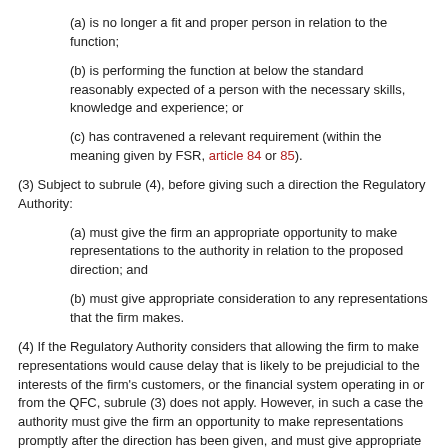(a) is no longer a fit and proper person in relation to the function;
(b) is performing the function at below the standard reasonably expected of a person with the necessary skills, knowledge and experience; or
(c) has contravened a relevant requirement (within the meaning given by FSR, article 84 or 85).
(3) Subject to subrule (4), before giving such a direction the Regulatory Authority:
(a) must give the firm an appropriate opportunity to make representations to the authority in relation to the proposed direction; and
(b) must give appropriate consideration to any representations that the firm makes.
(4) If the Regulatory Authority considers that allowing the firm to make representations would cause delay that is likely to be prejudicial to the interests of the firm's customers, or the financial system operating in or from the QFC, subrule (3) does not apply. However, in such a case the authority must give the firm an opportunity to make representations promptly after the direction has been given, and must give appropriate consideration to any representations that the firm makes.
Note An individual designated under rule 4.1.6 to perform only non-